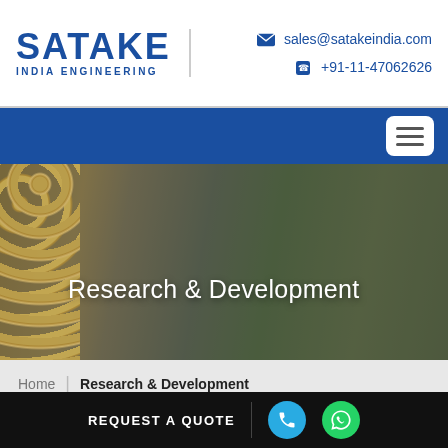SATAKE INDIA ENGINEERING | sales@satakeindia.com | +91-11-47062626
[Figure (screenshot): Navigation bar with blue background and hamburger menu icon]
[Figure (photo): Hero banner showing corn/maize cob on left and green crop field on right with dark overlay, title 'Research & Development' in white text]
Home | Research & Development
CREATING A COMPANY WITH ADVANCED
REQUEST A QUOTE